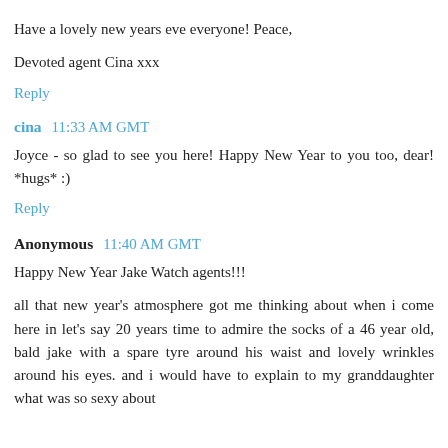Have a lovely new years eve everyone! Peace,
Devoted agent Cina xxx
Reply
cina  11:33 AM GMT
Joyce - so glad to see you here! Happy New Year to you too, dear! *hugs* :)
Reply
Anonymous  11:40 AM GMT
Happy New Year Jake Watch agents!!!
all that new year's atmosphere got me thinking about when i come here in let's say 20 years time to admire the socks of a 46 year old, bald jake with a spare tyre around his waist and lovely wrinkles around his eyes. and i would have to explain to my granddaughter what was so sexy about